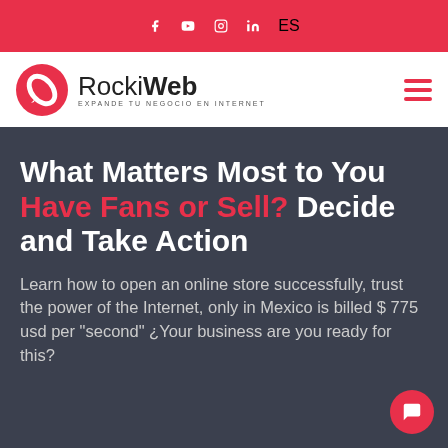f  ▶  ◯  in  ES
[Figure (logo): RockiWeb logo — circular red icon with white rocket/pencil, text 'RockiWeb' and tagline 'EXPANDE TU NEGOCIO EN INTERNET']
What Matters Most to You Have Fans or Sell? Decide and Take Action
Learn how to open an online store successfully, trust the power of the Internet, only in Mexico is billed $ 775 usd per "second" ¿Your business are you ready for this?